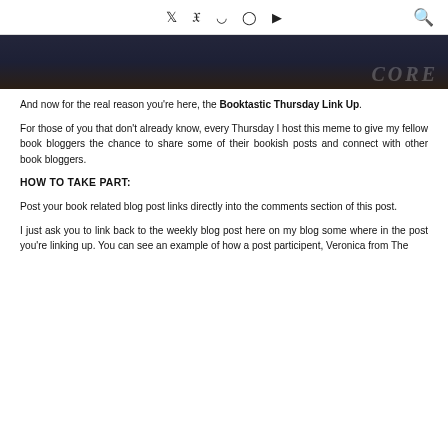Twitter Facebook Pinterest Instagram YouTube [search]
[Figure (photo): Dark photo showing a person holding a book, partially visible text on book cover]
And now for the real reason you're here, the Booktastic Thursday Link Up.
For those of you that don't already know, every Thursday I host this meme to give my fellow book bloggers the chance to share some of their bookish posts and connect with other book bloggers.
HOW TO TAKE PART:
Post your book related blog post links directly into the comments section of this post.
I just ask you to link back to the weekly blog post here on my blog some where in the post you're linking up. You can see an example of how a post participent, Veronica from The